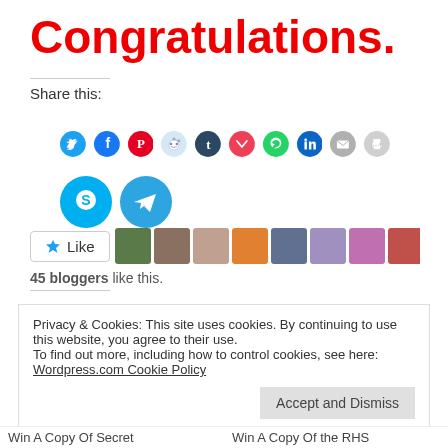Congratulations.
Share this:
[Figure (other): Row of social media icon circles: Twitter (cyan), Facebook (blue), Pinterest (red), Reddit (light blue), Tumblr (dark navy), Pocket (red), WhatsApp (green), LinkedIn (dark blue), Email (grey), Print (light grey), Skype (cyan), Telegram (blue)]
[Figure (other): Like button with star icon followed by a row of blogger avatar thumbnails]
45 bloggers like this.
Privacy & Cookies: This site uses cookies. By continuing to use this website, you agree to their use.
To find out more, including how to control cookies, see here:
Wordpress.com Cookie Policy
Accept and Dismiss
Win A Copy Of Secret
Win A Copy Of the RHS